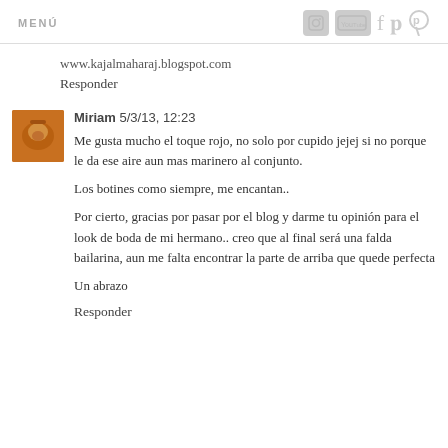MENÚ
www.kajalmaharaj.blogspot.com
Responder
[Figure (photo): Small avatar photo showing an orange/brown decorative object]
Miriam 5/3/13, 12:23
Me gusta mucho el toque rojo, no solo por cupido jejej si no porque le da ese aire aun mas marinero al conjunto.
Los botines como siempre, me encantan..
Por cierto, gracias por pasar por el blog y darme tu opinión para el look de boda de mi hermano.. creo que al final será una falda bailarina, aun me falta encontrar la parte de arriba que quede perfecta
Un abrazo
Responder